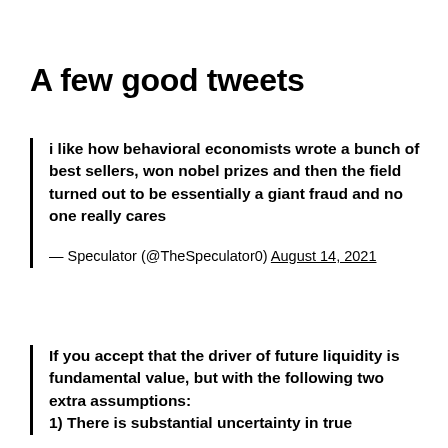A few good tweets
i like how behavioral economists wrote a bunch of best sellers, won nobel prizes and then the field turned out to be essentially a giant fraud and no one really cares

— Speculator (@TheSpeculator0) August 14, 2021
If you accept that the driver of future liquidity is fundamental value, but with the following two extra assumptions:
1) There is substantial uncertainty in true